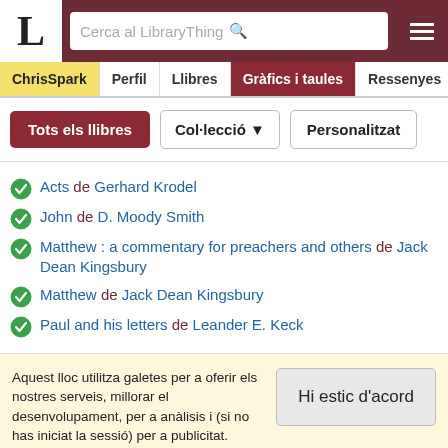L — Cerca al LibraryThing
ChrisSpark | Perfil | Llibres | Gràfics i taules | Ressenyes
Tots els llibres | Col·lecció | Personalitzat
Acts de Gerhard Krodel
John de D. Moody Smith
Matthew : a commentary for preachers and others de Jack Dean Kingsbury
Matthew de Jack Dean Kingsbury
Paul and his letters de Leander E. Keck
Aquest lloc utilitza galetes per a oferir els nostres serveis, millorar el desenvolupament, per a anàlisis i (si no has iniciat la sessió) per a publicitat. Utilitzant LibraryThing acceptes que has llegit i entès els nostres Termes de servei i política de privacitat. L'ús que facis del lloc i dels seus serveis està subjecte a aquestes polítiques i termes.